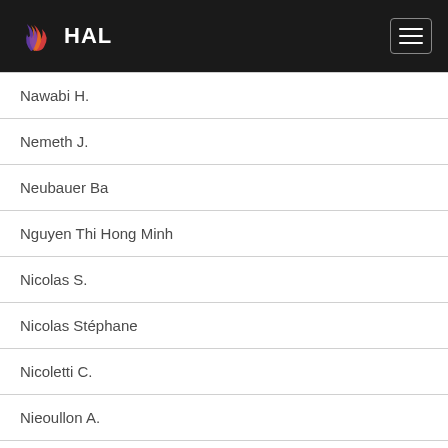HAL
| Nawabi H. |
| Nemeth J. |
| Neubauer Ba |
| Nguyen Thi Hong Minh |
| Nicolas S. |
| Nicolas Stéphane |
| Nicoletti C. |
| Nieoullon A. |
| Nieoullon A. L. |
| Nieoullon André |